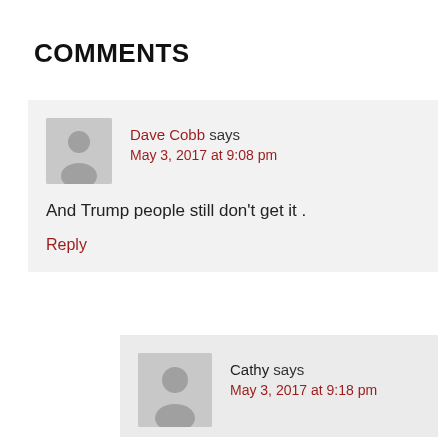COMMENTS
Dave Cobb says
May 3, 2017 at 9:08 pm
And Trump people still don't get it .
Reply
Cathy says
May 3, 2017 at 9:18 pm